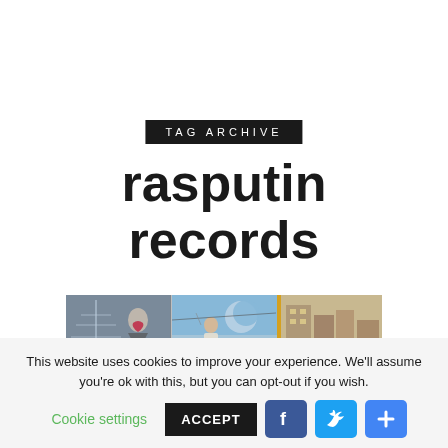TAG ARCHIVE
rasputin records
[Figure (photo): A collage/strip photo image showing people, possibly album covers or street scenes with blue and yellow tones]
This website uses cookies to improve your experience. We'll assume you're ok with this, but you can opt-out if you wish.
Cookie settings   ACCEPT